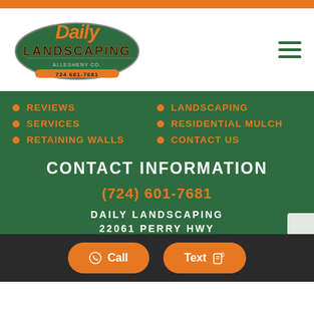[Figure (logo): Daily Landscaping logo with green ellipse background and orange/black stylized text, phone number 724 601-7681]
REVIEWS
SERVICES
RETAINING WALLS
LANDSCAPING
RESIDENTIAL MULCH
CONTACT US
CONTACT INFORMATION
(724) 601-7681
DAILY LANDSCAPING
22061 PERRY HWY